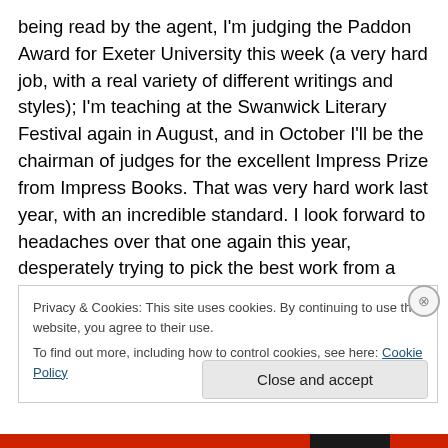being read by the agent, I'm judging the Paddon Award for Exeter University this week (a very hard job, with a real variety of different writings and styles); I'm teaching at the Swanwick Literary Festival again in August, and in October I'll be the chairman of judges for the excellent Impress Prize from Impress Books. That was very hard work last year, with an incredible standard. I look forward to headaches over that one again this year, desperately trying to pick the best work from a quality shortlist.

So, apologies for the delay in updating things, but I hope
Privacy & Cookies: This site uses cookies. By continuing to use this website, you agree to their use.
To find out more, including how to control cookies, see here: Cookie Policy
Close and accept